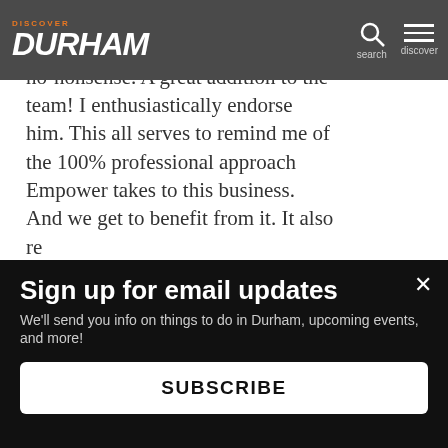Discover Durham - navigation bar with logo, search, and discover menu
been great! The transition was smooth. He's prepared, creative, no-nonsense. A great addition to the team! I enthusiastically endorse him. This all serves to remind me of the 100% professional approach Empower takes to this business. And we get to benefit from it. It also re[minds...] cha[nges...] be[...]
This website uses cookies to ensure you get the best experience on our website.
Sign up for email updates
We'll send you info on things to do in Durham, upcoming events, and more!
SUBSCRIBE